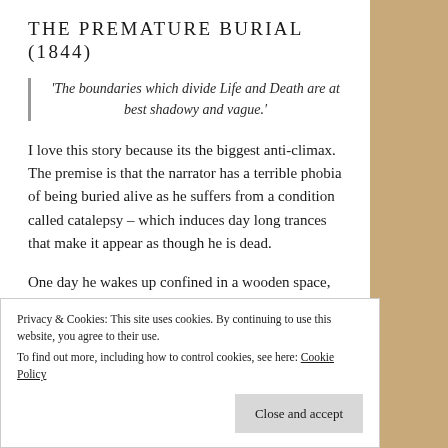THE PREMATURE BURIAL (1844)
'The boundaries which divide Life and Death are at best shadowy and vague.'
I love this story because its the biggest anti-climax. The premise is that the narrator has a terrible phobia of being buried alive as he suffers from a condition called catalepsy – which induces day long trances that make it appear as though he is dead.
One day he wakes up confined in a wooden space, he
Privacy & Cookies: This site uses cookies. By continuing to use this website, you agree to their use.
To find out more, including how to control cookies, see here: Cookie Policy